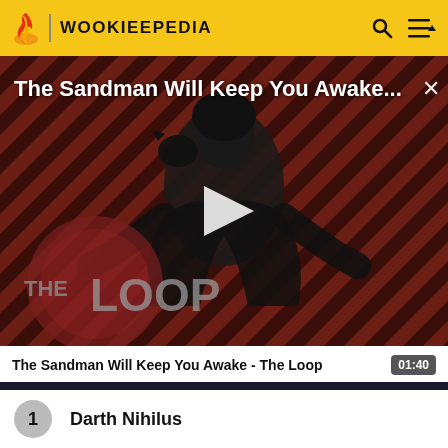WOOKIEEPEDIA
[Figure (screenshot): Video thumbnail for 'The Sandman Will Keep You Awake - The Loop' showing a figure in black with a crow on striped red/dark background. THE LOOP watermark visible. Play button overlay in center.]
The Sandman Will Keep You Awake...
The Sandman Will Keep You Awake - The Loop  01:40
1  Darth Nihilus